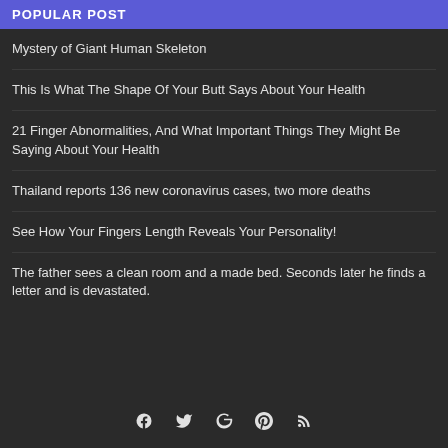POPULAR POST
Mystery of Giant Human Skeleton
This Is What The Shape Of Your Butt Says About Your Health
21 Finger Abnormalities, And What Important Things They Might Be Saying About Your Health
Thailand reports 136 new coronavirus cases, two more deaths
See How Your Fingers Length Reveals Your Personality!
The father sees a clean room and a made bed. Seconds later he finds a letter and is devastated.
Social icons: Facebook, Twitter, Google+, Pinterest, RSS